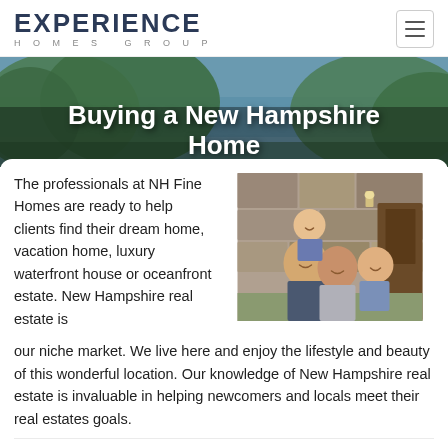EXPERIENCE HOMES GROUP
Buying a New Hampshire Home
[Figure (photo): Family photo showing a man, woman, and two young children posing in front of a stone building]
The professionals at NH Fine Homes are ready to help clients find their dream home, vacation home, luxury waterfront house or oceanfront estate. New Hampshire real estate is our niche market. We live here and enjoy the lifestyle and beauty of this wonderful location. Our knowledge of New Hampshire real estate is invaluable in helping newcomers and locals meet their real estates goals.